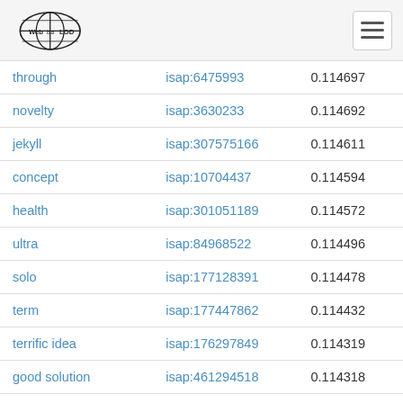Web isa LOD
| through | isap:6475993 | 0.114697 |
| novelty | isap:3630233 | 0.114692 |
| jekyll | isap:307575166 | 0.114611 |
| concept | isap:10704437 | 0.114594 |
| health | isap:301051189 | 0.114572 |
| ultra | isap:84968522 | 0.114496 |
| solo | isap:177128391 | 0.114478 |
| term | isap:177447862 | 0.114432 |
| terrific idea | isap:176297849 | 0.114319 |
| good solution | isap:461294518 | 0.114318 |
| fold | isap:177059685 | 0.114317 |